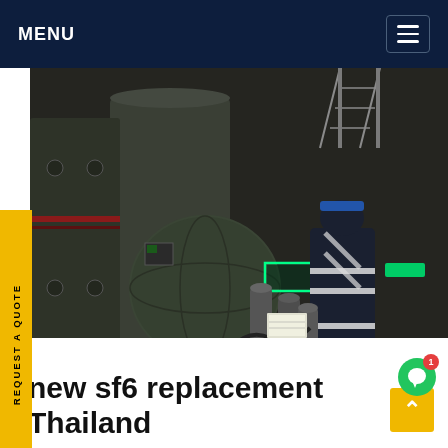MENU
[Figure (photo): Industrial electrical equipment scene (SF6 gas equipment) in a dark facility. A worker in reflective vest and hard hat is visible near large cylindrical equipment. Green LED indicators are lit. Gas cylinders are visible in the foreground. 'SF6China' watermark in orange at bottom right.]
REQUEST A QUOTE
new sf6 replacement Thailand